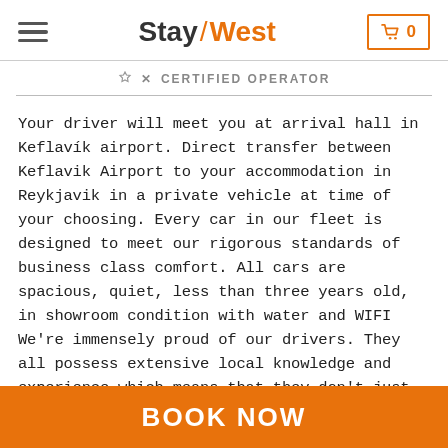Stay/West — Certified Operator
Your driver will meet you at arrival hall in Keflavík airport. Direct transfer between Keflavik Airport to your accommodation in Reykjavik in a private vehicle at time of your choosing. Every car in our fleet is designed to meet our rigorous standards of business class comfort. All cars are spacious, quiet, less than three years old, in showroom condition with water and WIFI We're immensely proud of our drivers. They all possess extensive local knowledge and experience which means that they don't just rely on a satnav, and they'll always try to find the best route From Rate you can choose the vehicle size that suits your passengers. For all extra activities like the blue lagoon depends
BOOK NOW